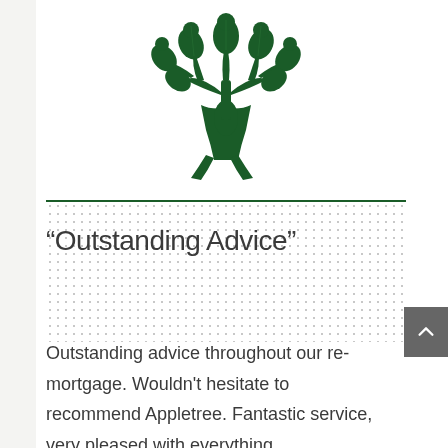[Figure (logo): Appletree logo: a stylized dark green tree with human-like figure forming the trunk and branches with leaves and round fruits/circles]
“Outstanding Advice”
Outstanding advice throughout our re-mortgage. Wouldn't hesitate to recommend Appletree. Fantastic service, very pleased with everything